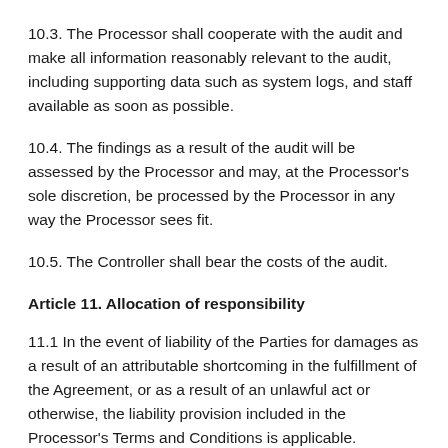10.3. The Processor shall cooperate with the audit and make all information reasonably relevant to the audit, including supporting data such as system logs, and staff available as soon as possible.
10.4. The findings as a result of the audit will be assessed by the Processor and may, at the Processor's sole discretion, be processed by the Processor in any way the Processor sees fit.
10.5. The Controller shall bear the costs of the audit.
Article 11. Allocation of responsibility
11.1 In the event of liability of the Parties for damages as a result of an attributable shortcoming in the fulfillment of the Agreement, or as a result of an unlawful act or otherwise, the liability provision included in the Processor's Terms and Conditions is applicable.